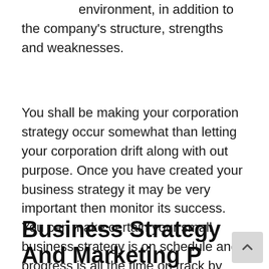environment, in addition to the company's structure, strengths and weaknesses.
You shall be making your corporation strategy occur somewhat than letting your corporation drift along with out purpose. Once you have created your business strategy it may be very important then monitor its success. You can make certain your small business strategy is on schedule and progress is all the time on track by utilizing this planning doc as a bench mark. A firm with these key traits he known as a living firm as a outcome of it is prepared to perpetuate itself.
Business Strategy And Marketing P…